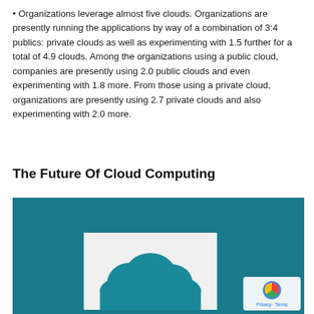• Organizations leverage almost five clouds. Organizations are presently running the applications by way of a combination of 3:4 publics: private clouds as well as experimenting with 1.5 further for a total of 4.9 clouds. Among the organizations using a public cloud, companies are presently using 2.0 public clouds and even experimenting with 1.8 more. From those using a private cloud, organizations are presently using 2.7 private clouds and also experimenting with 2.0 more.
The Future Of Cloud Computing
[Figure (illustration): Blue background image with a white card in the center showing a teal cloud icon, partially visible. A Privacy·Terms overlay with a Google icon appears in the bottom-right corner.]